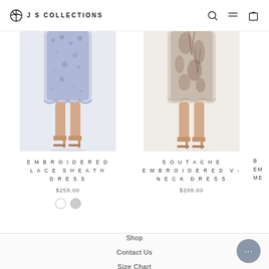JS COLLECTIONS
[Figure (photo): Bottom half of model wearing blue embroidered lace sheath dress with beige heels]
EMBROIDERED LACE SHEATH DRESS
$258.00
[Figure (photo): Bottom half of model wearing soutache embroidered v-neck dress with floral print and beige heels]
SOUTACHE EMBROIDERED V-NECK DRESS
$288.00
B EMB ME (partially visible third product)
Shop
Contact Us
Size Chart